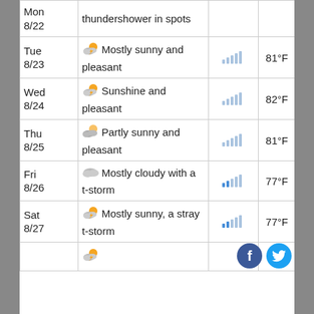| Date | Description | Signal | Hi | Lo |
| --- | --- | --- | --- | --- |
| Mon 8/22 | thundershower in spots |  | 84°F | 66°F |
| Tue 8/23 | Mostly sunny and pleasant |  | 81°F | 63°F |
| Wed 8/24 | Sunshine and pleasant |  | 82°F | 63°F |
| Thu 8/25 | Partly sunny and pleasant |  | 81°F | 63°F |
| Fri 8/26 | Mostly cloudy with a t-storm |  | 77°F | 61°F |
| Sat 8/27 | Mostly sunny, a stray t-storm |  | 77°F | 61°F |
| Sun 8/28 |  |  |  |  |